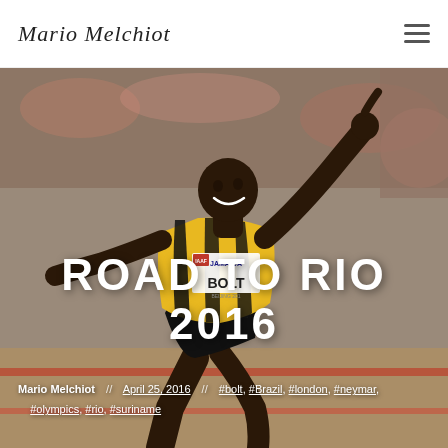Mario Melchiot
[Figure (photo): Usain Bolt in Jamaica athletic gear celebrating at a track event, pointing finger upward, with crowd in background. Large hero image with dark gradient overlay.]
ROAD TO RIO 2016
Mario Melchiot   April 25, 2016   #bolt, #Brazil, #london, #neymar, #olympics, #rio, #suriname